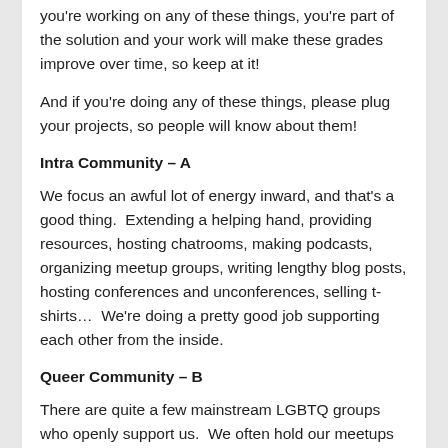you're working on any of these things, you're part of the solution and your work will make these grades improve over time, so keep at it!
And if you're doing any of these things, please plug your projects, so people will know about them!
Intra Community – A
We focus an awful lot of energy inward, and that's a good thing.  Extending a helping hand, providing resources, hosting chatrooms, making podcasts, organizing meetup groups, writing lengthy blog posts, hosting conferences and unconferences, selling t-shirts…  We're doing a pretty good job supporting each other from the inside.
Queer Community – B
There are quite a few mainstream LGBTQ groups who openly support us.  We often hold our meetups at the queer community center in town.  Many aces are involved with LGBTQ organizations.  There's an ace group who goes to Creating Change every year.  We're an obligatory